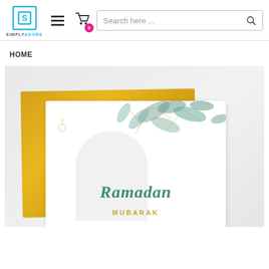SimplyAdore - Search here ...
HOME
[Figure (photo): Ramadan Mubarak greeting card with watercolor green leaves, gold geometric branches, a gold/yellow envelope behind the card on a light grey textured background. The card displays 'Ramadan' in teal script lettering and 'MUBARAK' in gold below.]